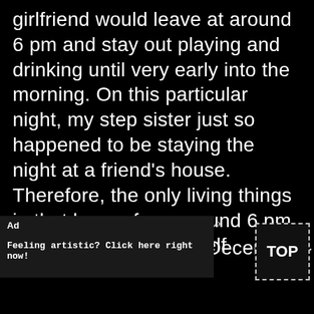girlfriend would leave at around 6 pm and stay out playing and drinking until very early into the morning. On this particular night, my step sister just so happened to be staying the night at a friend's house. Therefore, the only living things in that house from around 6 pm to 3 or 4am were myself and our house cat. In December—
[Figure (screenshot): Advertisement banner: dark background, 'Ad' label top left, 'x' close button, text 'Feeling artistic? Click here right now!' in monospace font]
[Figure (other): TOP button with dashed border outline]